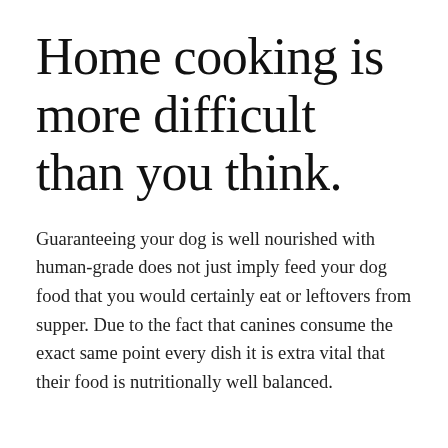Home cooking is more difficult than you think.
Guaranteeing your dog is well nourished with human-grade does not just imply feed your dog food that you would certainly eat or leftovers from supper. Due to the fact that canines consume the exact same point every dish it is extra vital that their food is nutritionally well balanced.